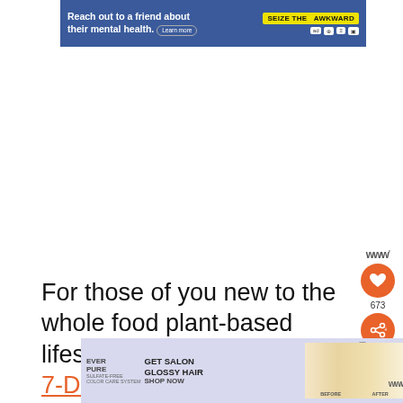[Figure (other): Blue advertisement banner: 'Reach out to a friend about their mental health. Learn more' with 'SEIZE THE AWKWARD' yellow badge and sponsor logos]
For those of you new to the whole food plant-based lifestyle, we've created a FREE 7-Day Plant-Based Menu Planner to help you get st...
[Figure (other): EverPure 'Get Salon Glossy Hair – Shop Now' advertisement banner with before/after hair images]
[Figure (other): Floating WW (Weight Watchers) UI with orange heart save button showing 673 saves, and orange share button]